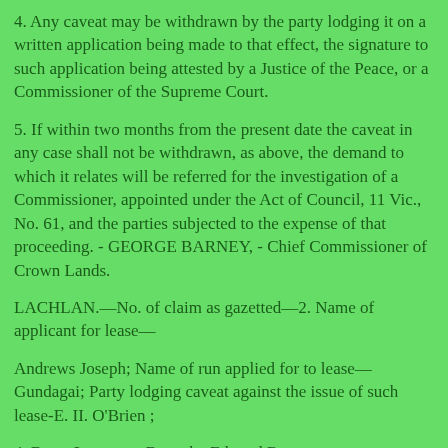4. Any caveat may be withdrawn by the party lodging it on a written application being made to that effect, the signature to such application being attested by a Justice of the Peace, or a Commissioner of the Supreme Court.
5. If within two months from the present date the caveat in any case shall not be withdrawn, as above, the demand to which it relates will be referred for the investigation of a Commissioner, appointed under the Act of Council, 11 Vic., No. 61, and the parties subjected to the expense of that proceeding. - GEORGE BARNEY, - Chief Commissioner of Crown Lands.
LACHLAN.—No. of claim as gazetted—2. Name of applicant for lease—
Andrews Joseph; Name of run applied for to lease—Gundagai; Party lodging caveat against the issue of such lease-E. II. O'Brien ;
4. Barry Laurence, Bangala, Edward Ryan ;
4. Barry Laurence, Bangala, W M. Manning ;
5. Barber George, wer Isabella Bailn'r, lumby, J. Matheson, per DiinKinuru and I/nigmnre;